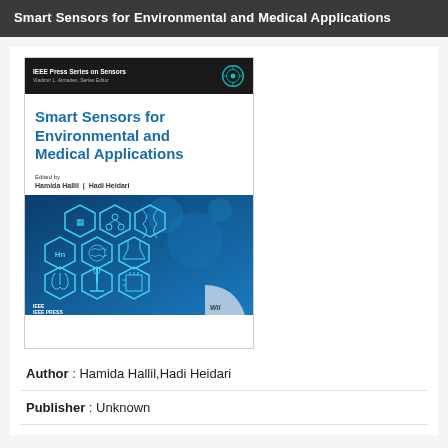Smart Sensors for Environmental and Medical Applications
[Figure (illustration): Book cover of 'Smart Sensors for Environmental and Medical Applications', IEEE Press Series on Sensors, edited by Hamida Hallil and Hadi Heidari, with blue hexagonal icons on a dark blue background, IEEE PRESS and Wiley logos at bottom.]
Author : Hamida Hallil,Hadi Heidari
Publisher : Unknown